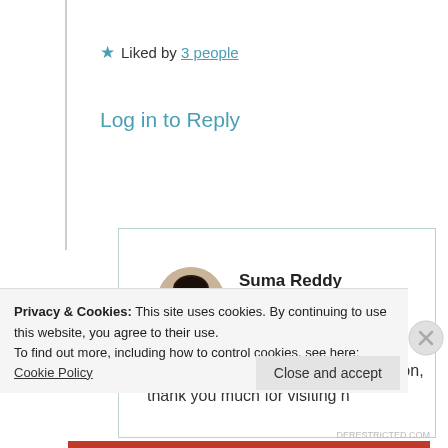★ Liked by 3 people
Log in to Reply
[Figure (photo): Circular avatar photo of Suma Reddy, a woman with dark hair]
Suma Reddy
6th Jul 2021 at 7:59 pm
ha ha! Your comment is truly a spot on, thank you much for visiting n
Privacy & Cookies: This site uses cookies. By continuing to use this website, you agree to their use.
To find out more, including how to control cookies, see here: Cookie Policy
Close and accept